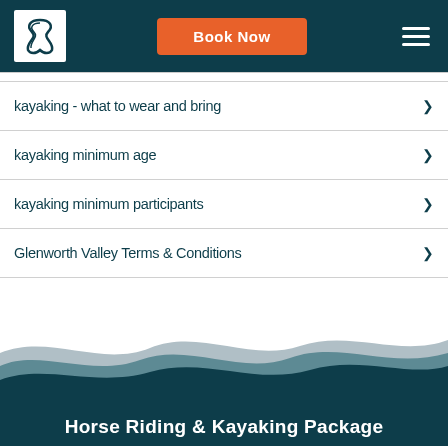Book Now
kayaking - what to wear and bring
kayaking minimum age
kayaking minimum participants
Glenworth Valley Terms & Conditions
[Figure (illustration): Layered wave graphic in teal, grey, and light grey colors forming the bottom section of the page]
Horse Riding & Kayaking Package